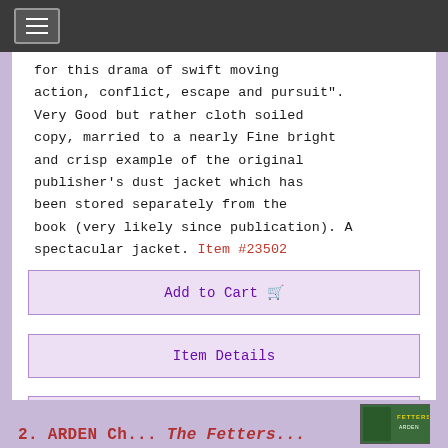[Navigation bar with hamburger menu]
for this drama of swift moving action, conflict, escape and pursuit". Very Good but rather cloth soiled copy, married to a nearly Fine bright and crisp example of the original publisher's dust jacket which has been stored separately from the book (very likely since publication). A spectacular jacket. Item #23502
Add to Cart 🛒
Item Details
Ask a Question
2. ARDEN Ch... The Fetters...